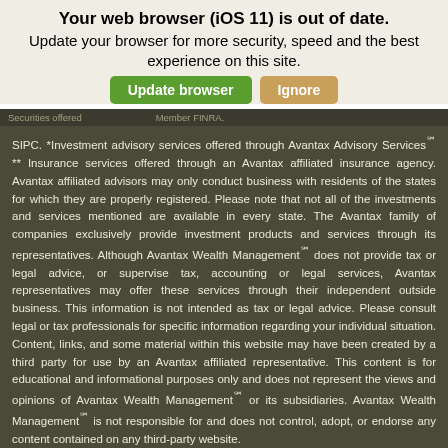Your web browser (iOS 11) is out of date.
Update your browser for more security, speed and the best experience on this site.
[Figure (other): Two buttons: green 'Update browser' and tan/gold 'Ignore']
Securities offered... Member FINRA.
SIPC. *Investment advisory services offered through Avantax Advisory Services℠ ** Insurance services offered through an Avantax affiliated insurance agency. Avantax affiliated advisors may only conduct business with residents of the states for which they are properly registered. Please note that not all of the investments and services mentioned are available in every state. The Avantax family of companies exclusively provide investment products and services through its representatives. Although Avantax Wealth Management℠ does not provide tax or legal advice, or supervise tax, accounting or legal services, Avantax representatives may offer these services through their independent outside business. This information is not intended as tax or legal advice. Please consult legal or tax professionals for specific information regarding your individual situation. Content, links, and some material within this website may have been created by a third party for use by an Avantax affiliated representative. This content is for educational and informational purposes only and does not represent the views and opinions of Avantax Wealth Management℠ or its subsidiaries. Avantax Wealth Management℠ is not responsible for and does not control, adopt, or endorse any content contained on any third-party website.